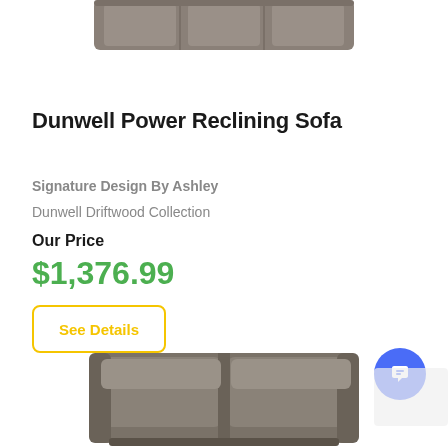[Figure (photo): Top portion of a gray/driftwood microfiber power reclining sofa viewed from above, cropped at top edge]
Dunwell Power Reclining Sofa
Signature Design By Ashley
Dunwell Driftwood Collection
Our Price
$1,376.99
See Details
[Figure (photo): Bottom portion of a gray/driftwood microfiber power reclining loveseat or sofa, showing seat cushions and armrests]
[Figure (other): Blue circular chat/support button icon in bottom right corner]